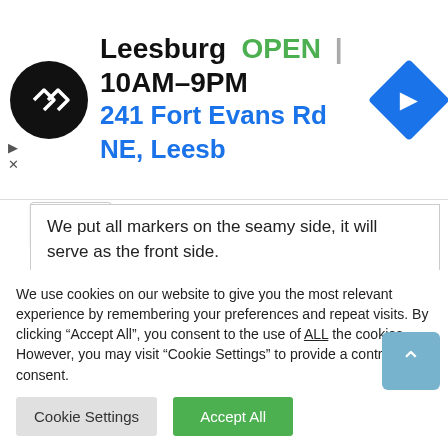[Figure (screenshot): Ad banner for Leesburg store: circular black logo with arrows, store name 'Leesburg', OPEN status in green, hours '10AM–9PM', address '241 Fort Evans Rd NE, Leesb', and a blue diamond navigation icon]
We put all markers on the seamy side, it will serve as the front side.
Both knit the same, except for the withdrawal of joints or cotter pins. We start with the sole.
We use cookies on our website to give you the most relevant experience by remembering your preferences and repeat visits. By clicking "Accept All", you consent to the use of ALL the cookies. However, you may visit "Cookie Settings" to provide a controlled consent.